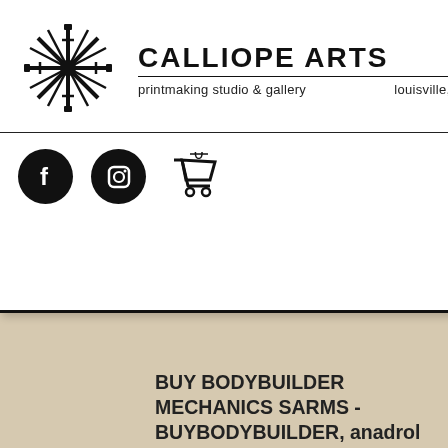[Figure (screenshot): Calliope Arts printmaking studio & gallery website header with logo, social icons, cart, and hamburger menu. Louisville, Kentucky.]
n buy
lder,
BUY BODYBUILDER MECHANICS SARMS - BUYBODYBUILDER, anadrol increase appetite.US
BODYBUYERS SHOP
Bodybuilder/Bodybuilding Gear Supplies.
Body Shop Body Shop sells bodybuilding and health supplies.
Bone Health Supplier